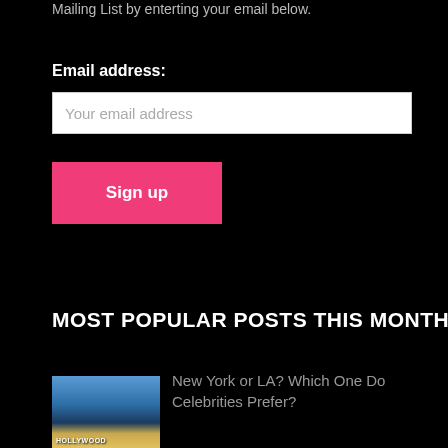Mailing List by enterting your email below.
Email address:
Your email address
Sign up
MOST POPULAR POSTS THIS MONTH
[Figure (photo): Thumbnail photo showing the Hollywood sign against a blue sky and hillside]
New York or LA? Which One Do Celebrities Prefer?